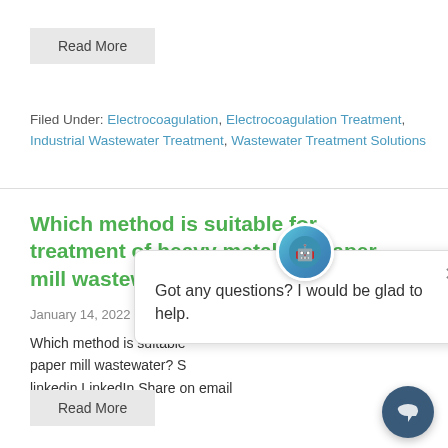Read More
Filed Under: Electrocoagulation, Electrocoagulation Treatment, Industrial Wastewater Treatment, Wastewater Treatment Solutions
Which method is suitable for treatment of heavy metals in paper mill wastewater?
January 14, 2022  By//  by Gen
Which method is suitable... paper mill wastewater? S... linkedin LinkedIn Share on email Email ...
Read More
Got any questions? I would be glad to help.